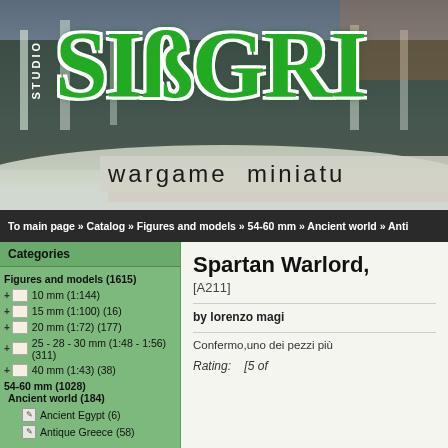[Figure (screenshot): Studio Siberia wargame miniatures website banner with snowy forest background, large green stylized 'SIBERI' logo text and 'wargame miniatures' subtitle]
To main page » Catalog » Figures and models » 54-60 mm » Ancient world » Anti
Categories
Figures and models (1615)
10 mm (1:144)
15 mm (1:100) (16)
20 mm (1:72) (177)
25 - 28 - 30 mm (1:48 - 1:56) (311)
40 mm (1:43) (38)
54-60 mm (1028)
Ancient world (184)
Ancient Egypt (6)
Antique Greece (58)
Spartan Warlord,
[A211]
by lorenzo magi
Confermo,uno dei pezzi pi&#249;
Rating:    [5 of